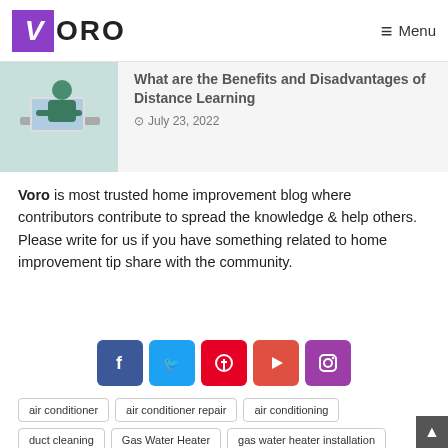VORO — Menu
What are the Benefits and Disadvantages of Distance Learning
July 23, 2022
Voro is most trusted home improvement blog where contributors contribute to spread the knowledge & help others. Please write for us if you have something related to home improvement tip share with the community.
[Figure (infographic): Social media icons: Facebook, Twitter, Pinterest, YouTube, Instagram]
air conditioner
air conditioner repair
air conditioning
duct cleaning
Gas Water Heater
gas water heater installation
Heating
Heating Service
Household
house painting services
HVAC Technician
interior painters